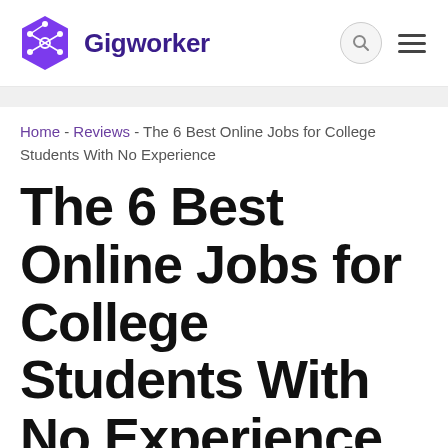Gigworker
Home - Reviews - The 6 Best Online Jobs for College Students With No Experience
The 6 Best Online Jobs for College Students With No Experience